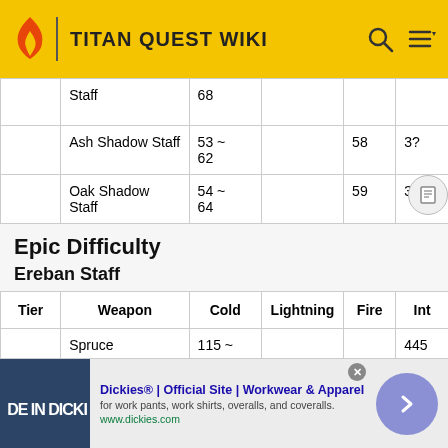TITAN QUEST WIKI
| Tier | Weapon | Cold | Lightning | Fire | Int |
| --- | --- | --- | --- | --- | --- |
|  | Staff | 68 |  |  |  |
|  | Ash Shadow Staff | 53 ~ 62 |  | 58 | 3? |
|  | Oak Shadow Staff | 54 ~ 64 |  | 59 | 326 |
Epic Difficulty
Ereban Staff
| Tier | Weapon | Cold | Lightning | Fire | Int |
| --- | --- | --- | --- | --- | --- |
|  | Spruce | 115 ~ |  |  | 445 |